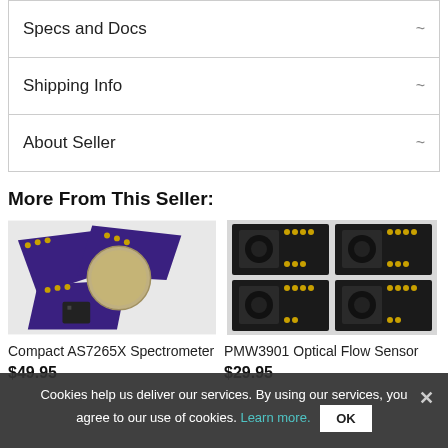Specs and Docs
Shipping Info
About Seller
More From This Seller:
[Figure (photo): Compact AS7265X Spectrometer circuit board with a coin for size reference, purple PCB with gold connectors]
Compact AS7265X Spectrometer
$49.95
[Figure (photo): PMW3901 Optical Flow Sensor - four circuit boards arranged in a 2x2 grid, dark PCBs with gold connectors]
PMW3901 Optical Flow Sensor
$29.95
Cookies help us deliver our services. By using our services, you agree to our use of cookies. Learn more. OK